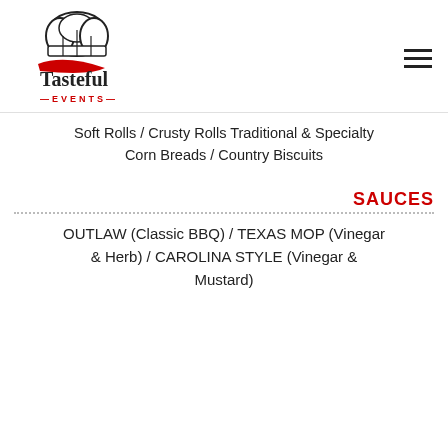[Figure (logo): Tasteful Events logo with chef hat and cursive swash, text reads Tasteful EVENTS]
Soft Rolls / Crusty Rolls Traditional & Specialty Corn Breads / Country Biscuits
SAUCES
OUTLAW (Classic BBQ) / TEXAS MOP (Vinegar & Herb) / CAROLINA STYLE (Vinegar & Mustard)